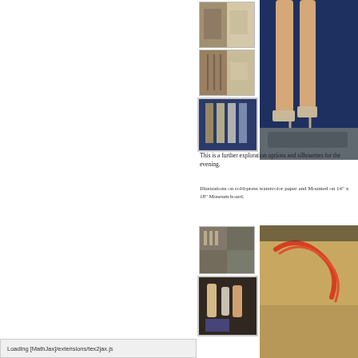[Figure (photo): Thumbnail image of fashion illustration materials on brown/tan background]
[Figure (photo): Thumbnail image of jewelry/accessories and fabric swatches on warm background]
[Figure (photo): Selected thumbnail showing fashion figures in evening wear on dark blue background]
[Figure (photo): Large cropped photo showing legs in heels against dark blue background]
This is a further exploration options and silhouettes for the evening.
Illustrations on cold-press watercolor paper and Mounted on 14" x 18" Museum board.
[Figure (photo): Thumbnail collage of fashion figure sketches and accessories]
[Figure (photo): Selected thumbnail showing fashion figures with colorful clothing on dark background]
[Figure (photo): Large cropped photo showing textured golden-brown surface with orange/red rope detail]
Loading [MathJax]/extensions/tex2jax.js